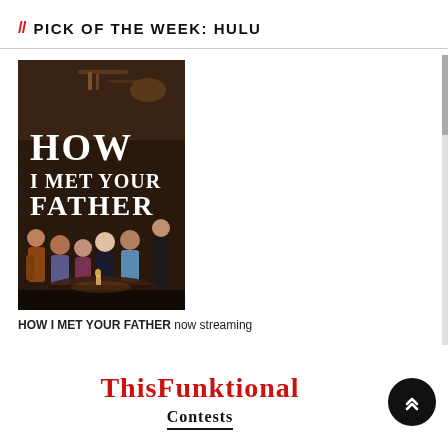// PICK OF THE WEEK: HULU
[Figure (photo): Promotional poster for 'How I Met Your Father' showing the cast seated in a bar/living room setting with the show title displayed prominently in white text on a dark background.]
HOW I MET YOUR FATHER now streaming
ThisFunktional
Contests